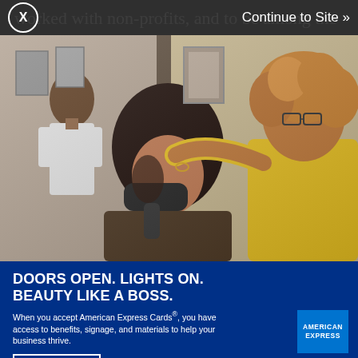worked with non-profits, and to be among the co-founders of the Professional Beauty Federation of California (PBFC).
[Figure (photo): Advertisement overlay showing a hairstylist in a yellow shirt blow-drying a client's hair in a salon, with a mirror reflection visible in the background. Blue banner at bottom with American Express branding.]
DOORS OPEN. LIGHTS ON. BEAUTY LIKE A BOSS.
When you accept American Express Cards®, you have access to benefits, signage, and materials to help your business thrive.
Learn More
Alexander in the early 90's, Alex was Founder, President and Executive